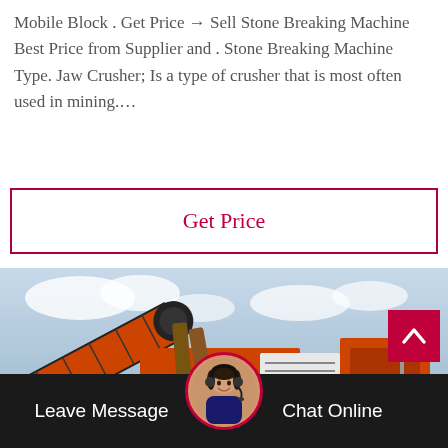Mobile Block . Get Price → Sell Stone Breaking Machine Best Price from Supplier and . Stone Breaking Machine Type. Jaw Crusher; Is a type of crusher that is most often used in mining....
Get Price
[Figure (photo): Large orange mobile stone crushing/breaking machine (jaw crusher) on tracks, photographed outdoors against a cloudy sky]
[Figure (photo): Customer service representative avatar with headset in circular orange-bordered icon]
Leave Message   Chat Online